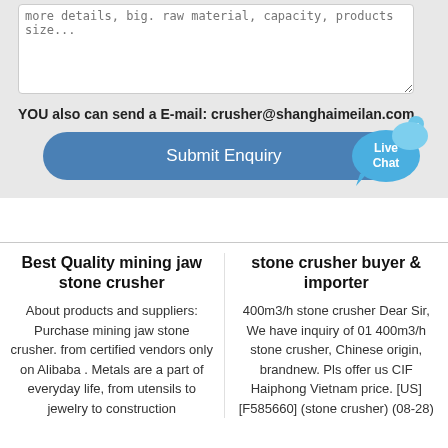[Figure (screenshot): A textarea input box, partially visible at the top of the page, for entering inquiry details such as material, capacity, products size.]
YOU also can send a E-mail: crusher@shanghaimeilan.com
[Figure (other): Blue 'Submit Enquiry' rounded button]
[Figure (illustration): Live Chat speech bubble icon in blue, with an 'x' close button]
Best Quality mining jaw stone crusher
About products and suppliers: Purchase mining jaw stone crusher. from certified vendors only on Alibaba . Metals are a part of everyday life, from utensils to jewelry to construction
stone crusher buyer & importer
400m3/h stone crusher Dear Sir, We have inquiry of 01 400m3/h stone crusher, Chinese origin, brandnew. Pls offer us CIF Haiphong Vietnam price. [US] [F585660] (stone crusher) (08-28)